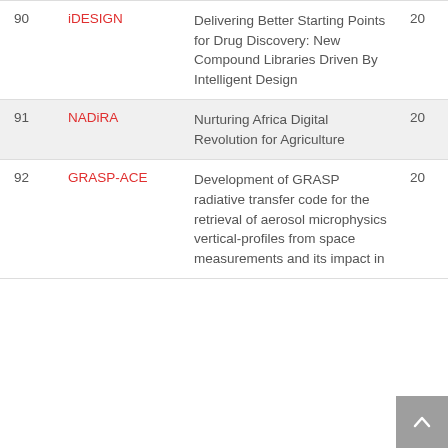| # | Acronym | Title | Year |
| --- | --- | --- | --- |
| 90 | iDESIGN | Delivering Better Starting Points for Drug Discovery: New Compound Libraries Driven By Intelligent Design | 20… |
| 91 | NADiRA | Nurturing Africa Digital Revolution for Agriculture | 20… |
| 92 | GRASP-ACE | Development of GRASP radiative transfer code for the retrieval of aerosol microphysics vertical-profiles from space measurements and its impact in | 20… |